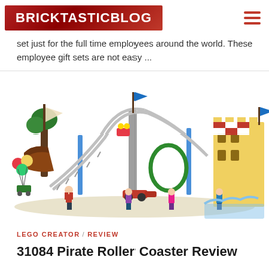BRICKTASTICBLOG
set just for the full time employees around the world. These employee gift sets are not easy ...
[Figure (photo): LEGO Creator Pirate Roller Coaster set displayed with minifigures and colorful amusement park roller coaster track layout]
LEGO CREATOR / REVIEW
31084 Pirate Roller Coaster Review